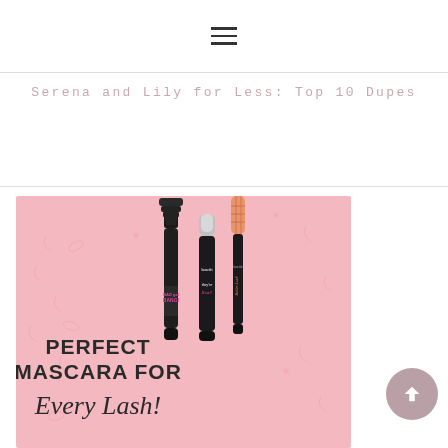[Figure (other): Hamburger/menu icon (three horizontal lines)]
Serena and Lily for Less: Top 10 Dupes
[Figure (photo): Pink background mascara advertisement showing three mascaras (BAD gal BANG!, they're Real!, Roller Lash) with text PERFECT MASCARA FOR Every Lash!]